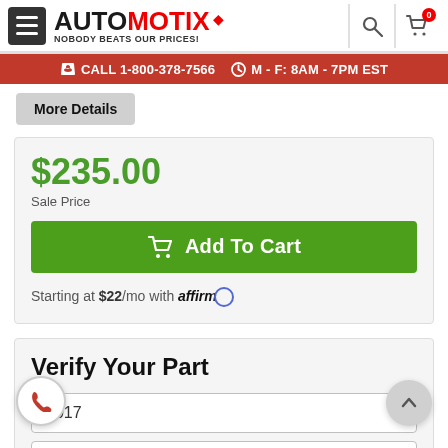[Figure (logo): Automotix logo with hamburger menu, search icon, and cart icon with badge 0]
CALL 1-800-378-7566   M - F: 8AM - 7PM EST
More Details
$235.00
Sale Price
Add To Cart
Starting at $22/mo with affirm
Verify Your Part
2017
Nissan